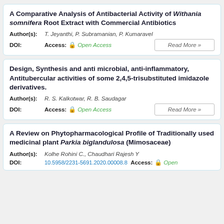A Comparative Analysis of Antibacterial Activity of Withania somnifera Root Extract with Commercial Antibiotics
Author(s): T. Jeyanthi, P. Subramanian, P. Kumaravel
DOI:    Access: Open Access
Design, Synthesis and anti microbial, anti-inflammatory, Antitubercular activities of some 2,4,5-trisubstituted imidazole derivatives.
Author(s): R. S. Kalkotwar, R. B. Saudagar
DOI:    Access: Open Access
A Review on Phytopharmacological Profile of Traditionally used medicinal plant Parkia biglandulosa (Mimosaceae)
Author(s): Kolhe Rohini C., Chaudhari Rajesh Y
DOI: 10.5958/2231-5691.2020.00008.8    Access: Open